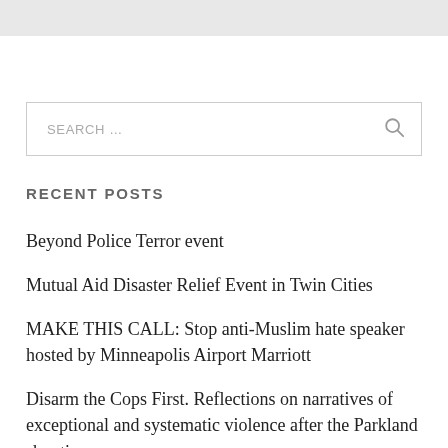[Figure (other): Gray top bar / header area]
[Figure (other): Search input box with placeholder text SEARCH ... and a magnifying glass icon on the right]
RECENT POSTS
Beyond Police Terror event
Mutual Aid Disaster Relief Event in Twin Cities
MAKE THIS CALL: Stop anti-Muslim hate speaker hosted by Minneapolis Airport Marriott
Disarm the Cops First. Reflections on narratives of exceptional and systematic violence after the Parkland shootings.